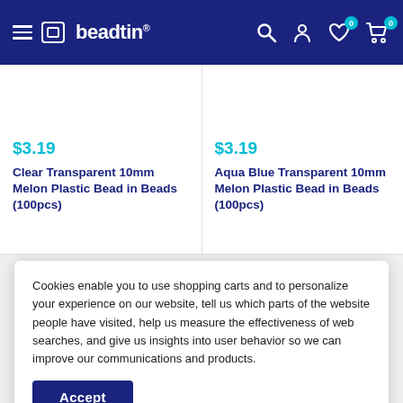beadtin
$3.19
Clear Transparent 10mm Melon Plastic Bead in Beads (100pcs)
$3.19
Aqua Blue Transparent 10mm Melon Plastic Bead in Beads (100pcs)
Cookies enable you to use shopping carts and to personalize your experience on our website, tell us which parts of the website people have visited, help us measure the effectiveness of web searches, and give us insights into user behavior so we can improve our communications and products.
Accept